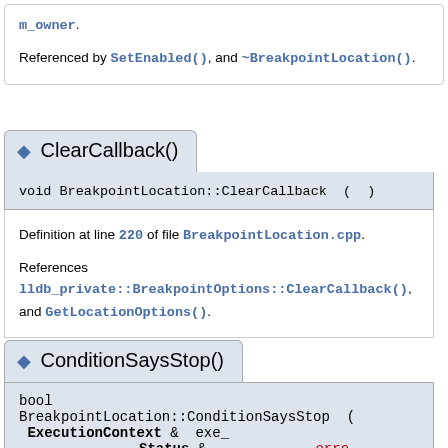m_owner. Referenced by SetEnabled(), and ~BreakpointLocation().
◆ ClearCallback()
void BreakpointLocation::ClearCallback ( )
Definition at line 220 of file BreakpointLocation.cpp.
References lldb_private::BreakpointOptions::ClearCallback(), and GetLocationOptions().
◆ ConditionSaysStop()
bool BreakpointLocation::ConditionSaysStop ( ExecutionContext & exe_ Status & erro